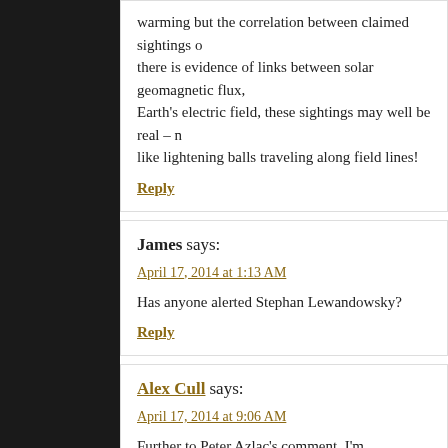warming but the correlation between claimed sightings o there is evidence of links between solar geomagnetic flux, Earth's electric field, these sightings may well be real – like lightening balls traveling along field lines!
Reply
James says:
April 17, 2014 at 1:13 AM
Has anyone alerted Stephan Lewandowsky?
Reply
Alex Cull says:
April 17, 2014 at 9:06 AM
Further to Peter Azlac's comment, I'm wondering if there between purported experiences of alien communication/a